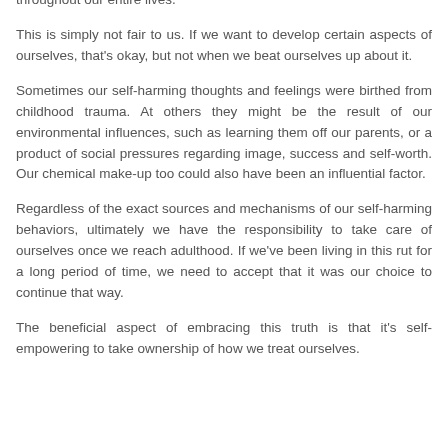throughout our entire lives.
This is simply not fair to us. If we want to develop certain aspects of ourselves, that's okay, but not when we beat ourselves up about it.
Sometimes our self-harming thoughts and feelings were birthed from childhood trauma. At others they might be the result of our environmental influences, such as learning them off our parents, or a product of social pressures regarding image, success and self-worth. Our chemical make-up too could also have been an influential factor.
Regardless of the exact sources and mechanisms of our self-harming behaviors, ultimately we have the responsibility to take care of ourselves once we reach adulthood. If we've been living in this rut for a long period of time, we need to accept that it was our choice to continue that way.
The beneficial aspect of embracing this truth is that it's self-empowering to take ownership of how we treat ourselves.